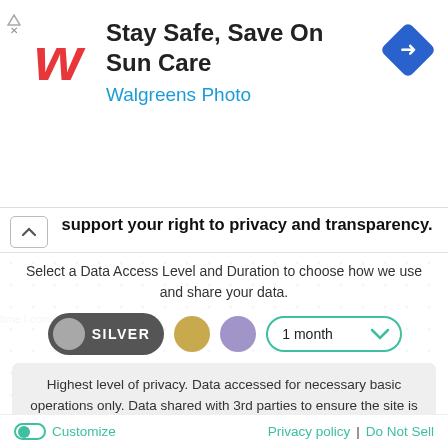[Figure (screenshot): Walgreens Photo advertisement banner: red Walgreens W logo on left, large bold text 'Stay Safe, Save On Sun Care', blue subtitle 'Walgreens Photo', blue diamond navigation icon on right]
support your right to privacy and transparency.
Select a Data Access Level and Duration to choose how we use and share your data.
[Figure (infographic): Privacy level selector UI: dark grey pill button with grey circle and text SILVER (selected), golden circle, purple circle, and a teal-bordered dropdown showing '1 month' with chevron]
Highest level of privacy. Data accessed for necessary basic operations only. Data shared with 3rd parties to ensure the site is secure and works on your device
[Figure (screenshot): Large teal rounded button with white bold text 'Save my preferences']
Customize   Privacy policy  |  Do Not Sell